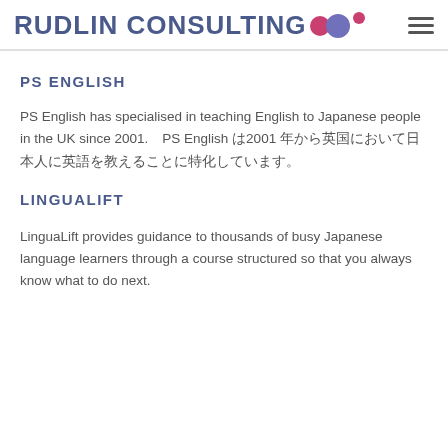RUDLIN CONSULTING
PS ENGLISH
PS English has specialised in teaching English to Japanese people in the UK since 2001.　PS English は2001 年から英国において日本人に英語を教えることに特化しています。
LINGUALIFT
LinguaLift provides guidance to thousands of busy Japanese language learners through a course structured so that you always know what to do next.